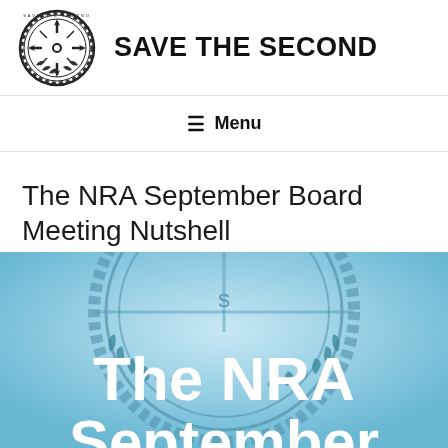[Figure (logo): Save the Second circular logo with compass rose and rope border]
SAVE THE SECOND
≡ Menu
The NRA September Board Meeting Nutshell
[Figure (illustration): Blue background with Save the Second seal/emblem and large white bold text reading 'The NRA September']